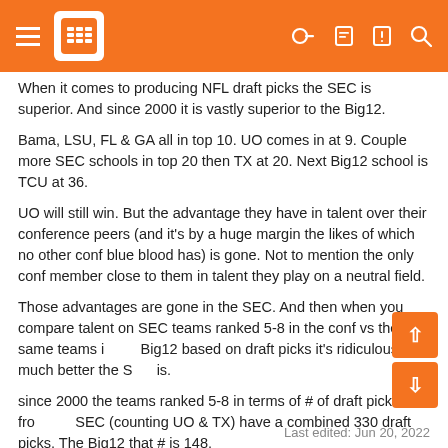SB Nation header bar
When it comes to producing NFL draft picks the SEC is superior. And since 2000 it is vastly superior to the Big12.
Bama, LSU, FL & GA all in top 10. UO comes in at 9. Couple more SEC schools in top 20 then TX at 20. Next Big12 school is TCU at 36.
UO will still win. But the advantage they have in talent over their conference peers (and it's by a huge margin the likes of which no other conf blue blood has) is gone. Not to mention the only conf member close to them in talent they play on a neutral field.
Those advantages are gone in the SEC. And then when you compare talent on SEC teams ranked 5-8 in the conf vs the same teams in the Big12 based on draft picks it's ridiculous how much better the SEC is.
since 2000 the teams ranked 5-8 in terms of # of draft picks from the SEC (counting UO & TX) have a combined 330 draft picks. The Big12 that # is 148.
Last edited: Jun 20, 2022